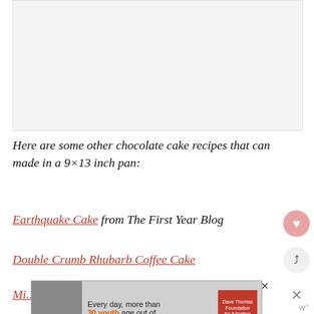[Figure (photo): Placeholder image area at the top of the page, light gray background]
Here are some other chocolate cake recipes that can made in a 9×13 inch pan:
Earthquake Cake from The First Year Blog
Double Crumb Rhubarb Coffee Cake
Mi... from So...
[Figure (infographic): Advertisement banner: Dave Thomas Foundation for Adoption — Every day, more than 30 youth age out of]